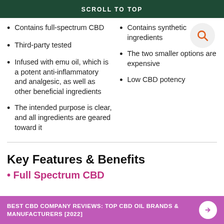SCROLL TO TOP
Contains full-spectrum CBD
Third-party tested
Infused with emu oil, which is a potent anti-inflammatory and analgesic, as well as other beneficial ingredients
The intended purpose is clear, and all ingredients are geared toward it
Contains synthetic ingredients
The two smaller options are expensive
Low CBD potency
Key Features & Benefits
• Full Spectrum CBD
BEST CBD COMPANY REVIEWS: TOP CBD OIL BRANDS & MANUFACTURERS [2022]